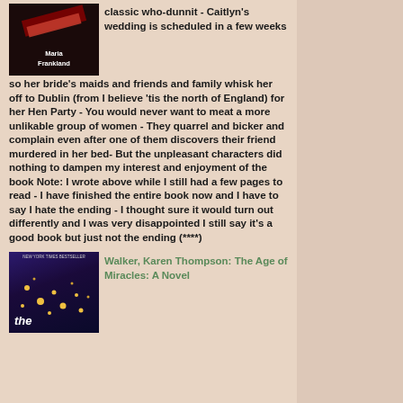[Figure (photo): Book cover with dark background, red ribbon/decor, and author name Maria Frankland at bottom]
classic who-dunnit - Caitlyn's wedding is scheduled in a few weeks so her bride's maids and friends and family whisk her off to Dublin (from I believe 'tis the north of England) for her Hen Party - You would never want to meat a more unlikable group of women - They quarrel and bicker and complain even after one of them discovers their friend murdered in her bed- But the unpleasant characters did nothing to dampen my interest and enjoyment of the book Note: I wrote above while I still had a few pages to read - I have finished the entire book now and I have to say I hate the ending - I thought sure it would turn out differently and I was very disappointed I still say it's a good book but just not the ending (****)
[Figure (photo): Book cover for The Age of Miracles - dark blue/purple night sky with yellow stars and the word 'the' at bottom, labeled New York Times Bestseller]
Walker, Karen Thompson: The Age of Miracles: A Novel